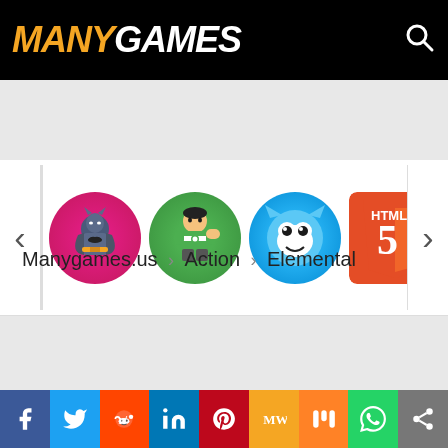MANYGAMES
[Figure (screenshot): Carousel of game icons: Batman, Ben 10, Gumball, HTML5, GunBattle]
Manygames.us › Action › Elemental
[Figure (infographic): Social sharing footer bar with Facebook, Twitter, Reddit, LinkedIn, Pinterest, MixW, Mix, WhatsApp, Share icons]